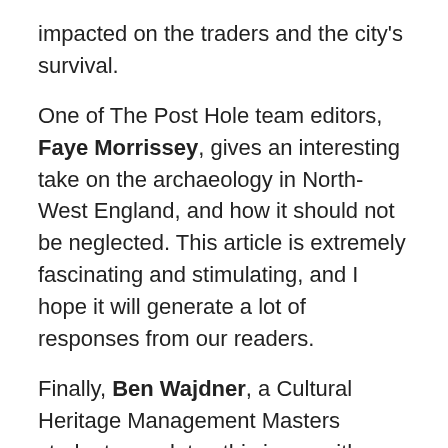impacted on the traders and the city's survival.
One of The Post Hole team editors, Faye Morrissey, gives an interesting take on the archaeology in North-West England, and how it should not be neglected. This article is extremely fascinating and stimulating, and I hope it will generate a lot of responses from our readers.
Finally, Ben Wajdner, a Cultural Heritage Management Masters student completes this issue with an article that is not only attention-grabbing, but provocative and challenging. 'Cultural Heritage Theory and Practice: raising awareness to a problem facing our generation' is a topic relevant to today, and like Faye Morrissey's article, I hope will generate responses and provide The Post Hole with